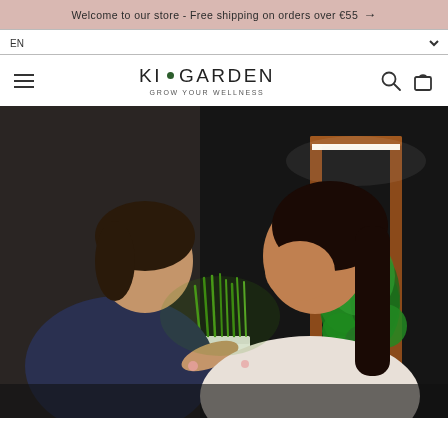Welcome to our store - Free shipping on orders over €55 →
EN
[Figure (logo): KI • GARDEN logo with tagline GROW YOUR WELLNESS, green dot between KI and GARDEN]
[Figure (photo): A mother and young child looking at green plants growing in white pots, next to an indoor garden grow light device with a wooden/orange frame and LED light bar illuminating lush green herbs]